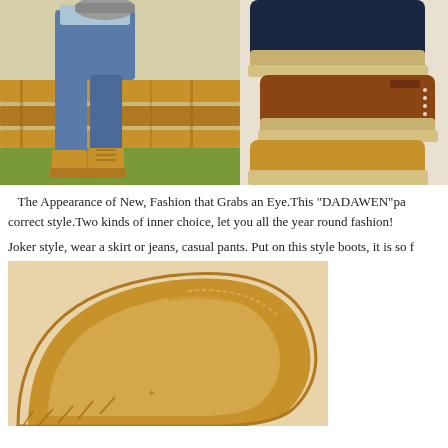[Figure (photo): Child sitting on a wooden bench outdoors wearing blue jeans, a light blue shirt, and tan/wheat colored lace-up boots, with grass in the background]
[Figure (photo): Close-up of three pairs of boots in different colors: navy/black suede, brown/tan leather, and tan/wheat leather, showing toe and sole area]
The Appearance of New, Fashion that Grabs an Eye.This "DADAWEN"pa correct style.Two kinds of inner choice, let you all the year round fashion!
Joker style, wear a skirt or jeans, casual pants. Put on this style boots, it is so f
[Figure (photo): Close-up of the rubber sole of a tan/wheat colored boot, showing the thick ridged sole curving upward, with stitching visible on the leather upper]